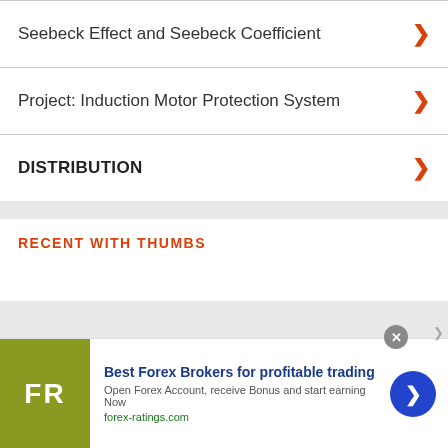Seebeck Effect and Seebeck Coefficient
Project: Induction Motor Protection System
DISTRIBUTION
RECENT WITH THUMBS
[Figure (infographic): Advertisement banner for Best Forex Brokers. Shows FR logo in olive/green square, headline 'Best Forex Brokers for profitable trading', subtext 'Open Forex Account, receive Bonus and start earning Now', link 'forex-ratings.com', blue circular arrow button, and close X button.]